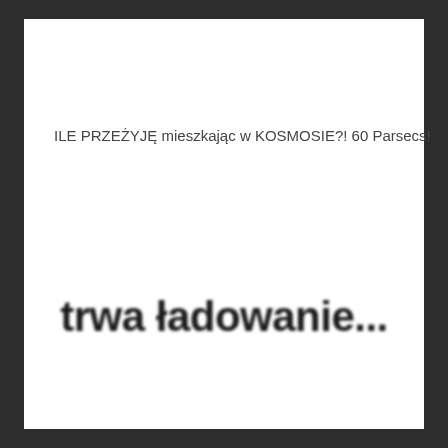ILE PRZEŻYJĘ mieszkając w KOSMOSIE?! 60 Parsecs!
trwa ładowanie...